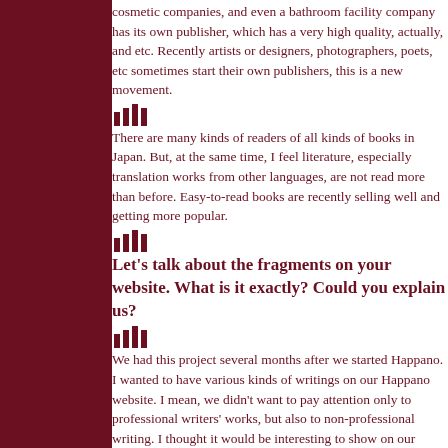cosmetic companies, and even a bathroom facility company has its own publisher, which has a very high quality, actually, and etc. Recently artists or designers, photographers, poets, etc sometimes start their own publishers, this is a new movement.
There are many kinds of readers of all kinds of books in Japan. But, at the same time, I feel literature, especially translation works from other languages, are not read more than before. Easy-to-read books are recently selling well and getting more popular.
Let's talk about the fragments on your website. What is it exactly? Could you explain us?
We had this project several months after we started Happano. I wanted to have various kinds of writings on our Happano website. I mean, we didn't want to pay attention only to professional writers' works, but also to non-professional writing. I thought it would be interesting to show on our website fragments